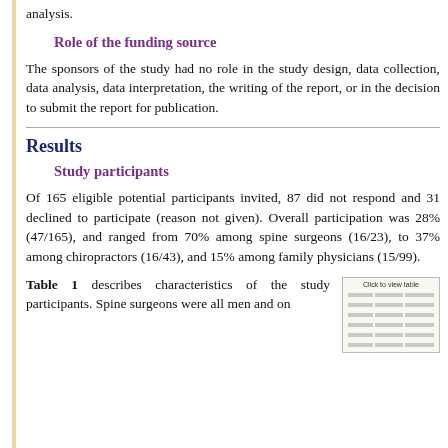analysis.
Role of the funding source
The sponsors of the study had no role in the study design, data collection, data analysis, data interpretation, the writing of the report, or in the decision to submit the report for publication.
Results
Study participants
Of 165 eligible potential participants invited, 87 did not respond and 31 declined to participate (reason not given). Overall participation was 28% (47/165), and ranged from 70% among spine surgeons (16/23), to 37% among chiropractors (16/43), and 15% among family physicians (15/99).
Table 1 describes characteristics of the study participants. Spine surgeons were all men and on
[Figure (table-as-image): Thumbnail image of a table with 'Click to view table' text and gridlines]